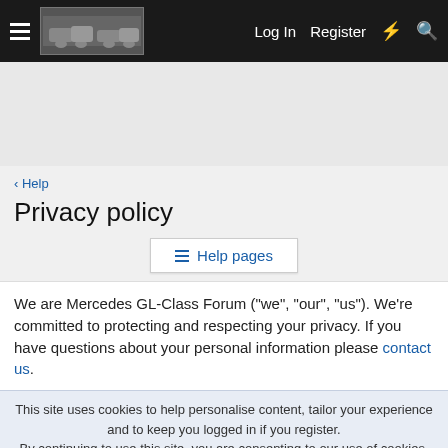≡  [Mercedes GL-Class Forum logo]  Log In  Register  ⚡  🔍
[Figure (screenshot): Advertisement/banner area (gray empty space)]
< Help
Privacy policy
≡ Help pages
We are Mercedes GL-Class Forum ("we", "our", "us"). We're committed to protecting and respecting your privacy. If you have questions about your personal information please contact us.
This site uses cookies to help personalise content, tailor your experience and to keep you logged in if you register.
By continuing to use this site, you are consenting to our use of cookies.
✓ Accept   Learn more...